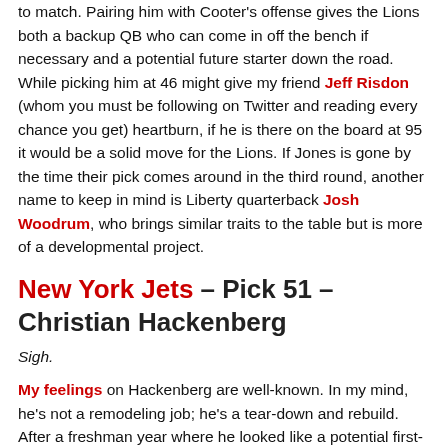to match. Pairing him with Cooter's offense gives the Lions both a backup QB who can come in off the bench if necessary and a potential future starter down the road. While picking him at 46 might give my friend Jeff Risdon (whom you must be following on Twitter and reading every chance you get) heartburn, if he is there on the board at 95 it would be a solid move for the Lions. If Jones is gone by the time their pick comes around in the third round, another name to keep in mind is Liberty quarterback Josh Woodrum, who brings similar traits to the table but is more of a developmental project.
New York Jets – Pick 51 – Christian Hackenberg
Sigh.
My feelings on Hackenberg are well-known. In my mind, he's not a remodeling job; he's a tear-down and rebuild. After a freshman year where he looked like a potential first-round pick running Bill O'Brien's offense, the QB definitely regressed during his final two seasons at Penn